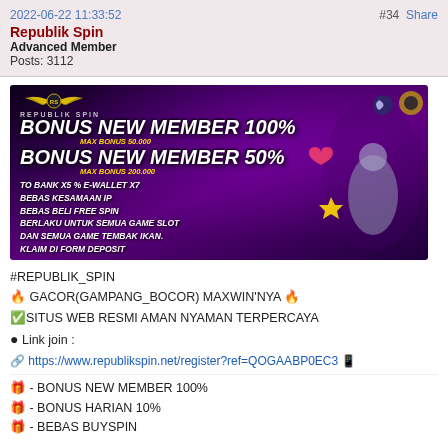2022-06-22 11:33:52   #34  Share
Republik Spin
Advanced Member
Posts: 3112
[Figure (illustration): Promotional banner for Republik Spin gambling site. Dark purple background with game characters. Text: BONUS NEW MEMBER 100% MAX BONUS 50.000, BONUS NEW MEMBER 50% MAX BONUS 200.000, TO BANK X5 % E-WALLET X7, BEBAS KESAMAAN IP, BEBAS BELI FREE SPIN, BERLAKU UNTUK SEMUA GAME SLOT, DAN SEMUA GAME TEMBAK IKAN. KLAIM DI FORM DEPOSIT]
#REPUBLIK_SPIN
🔥 GACOR(GAMPANG_BOCOR) MAXWIN'NYA 🔥
✅SITUS WEB RESMI AMAN NYAMAN TERPERCAYA
● Link join :
🔗 https://www.republikspin.net/register?ref=QOGAABP0EC3 📱
🎁 - BONUS NEW MEMBER 100%
🎁 - BONUS HARIAN 10%
🎁 - BEBAS BUYSPIN